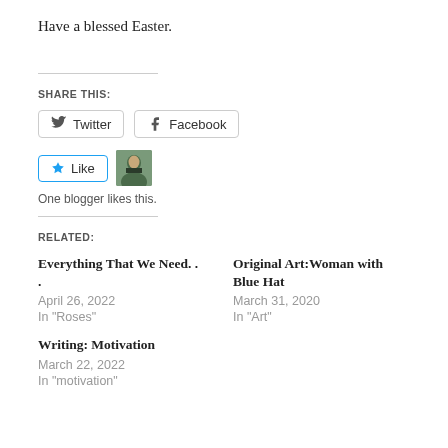Have a blessed Easter.
SHARE THIS:
[Figure (other): Share buttons for Twitter and Facebook]
[Figure (other): Like button with blogger avatar. One blogger likes this.]
One blogger likes this.
RELATED:
Everything That We Need. . .
April 26, 2022
In "Roses"
Original Art:Woman with Blue Hat
March 31, 2020
In "Art"
Writing: Motivation
March 22, 2022
In "motivation"